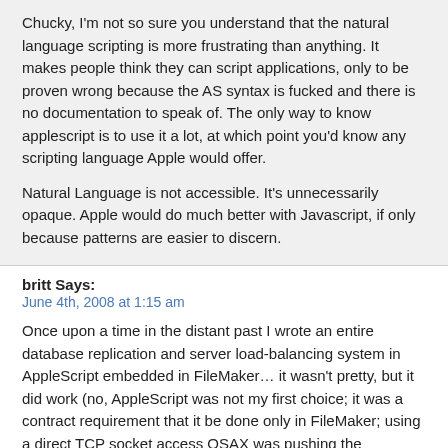Chucky, I'm not so sure you understand that the natural language scripting is more frustrating than anything. It makes people think they can script applications, only to be proven wrong because the AS syntax is fucked and there is no documentation to speak of. The only way to know applescript is to use it a lot, at which point you'd know any scripting language Apple would offer.

Natural Language is not accessible. It's unnecessarily opaque. Apple would do much better with Javascript, if only because patterns are easier to discern.
britt Says:
June 4th, 2008 at 1:15 am
Once upon a time in the distant past I wrote an entire database replication and server load-balancing system in AppleScript embedded in FileMaker… it wasn't pretty, but it did work (no, AppleScript was not my first choice; it was a contract requirement that it be done only in FileMaker; using a direct TCP socket access OSAX was pushing the requirements, but otherwise it just couldn't have been done as at the time FileMaker did not support this at all).
What I'd really like (and if I had time, would implement; all the